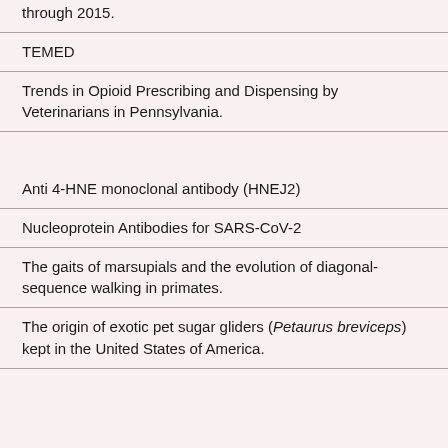through 2015.
TEMED
Trends in Opioid Prescribing and Dispensing by Veterinarians in Pennsylvania.
Anti 4-HNE monoclonal antibody (HNEJ2)
Nucleoprotein Antibodies for SARS-CoV-2
The gaits of marsupials and the evolution of diagonal-sequence walking in primates.
The origin of exotic pet sugar gliders (Petaurus breviceps) kept in the United States of America.